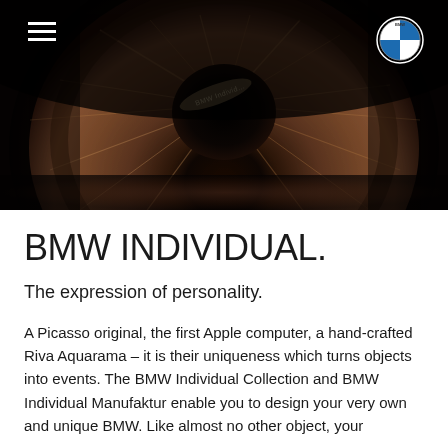[Figure (photo): Close-up macro photograph of a human eye iris in dark brown tones with dramatic lighting. A reflection of 'BMW Individual' text is visible on the pupil. Navigation menu hamburger icon visible top-left and BMW roundel logo top-right.]
BMW INDIVIDUAL.
The expression of personality.
A Picasso original, the first Apple computer, a hand-crafted Riva Aquarama – it is their uniqueness which turns objects into events. The BMW Individual Collection and BMW Individual Manufaktur enable you to design your very own and unique BMW. Like almost no other object, your